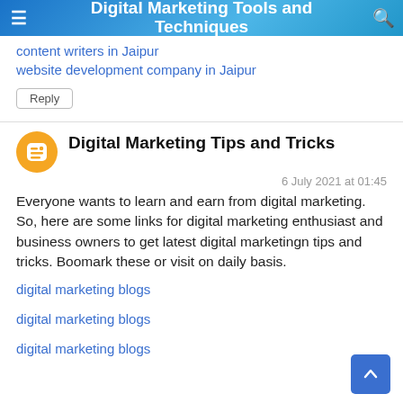Digital Marketing Tools and Techniques
content writers in Jaipur
website development company in Jaipur
Reply
Digital Marketing Tips and Tricks
6 July 2021 at 01:45
Everyone wants to learn and earn from digital marketing. So, here are some links for digital marketing enthusiast and business owners to get latest digital marketingn tips and tricks. Boomark these or visit on daily basis.
digital marketing blogs
digital marketing blogs
digital marketing blogs